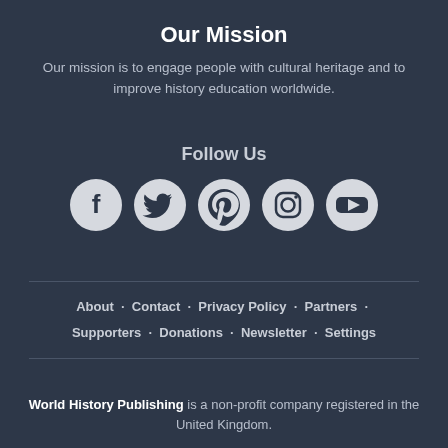Our Mission
Our mission is to engage people with cultural heritage and to improve history education worldwide.
Follow Us
[Figure (infographic): Row of five circular social media icons: Facebook, Twitter, Pinterest, Instagram, YouTube]
About · Contact · Privacy Policy · Partners · Supporters · Donations · Newsletter · Settings
World History Publishing is a non-profit company registered in the United Kingdom.